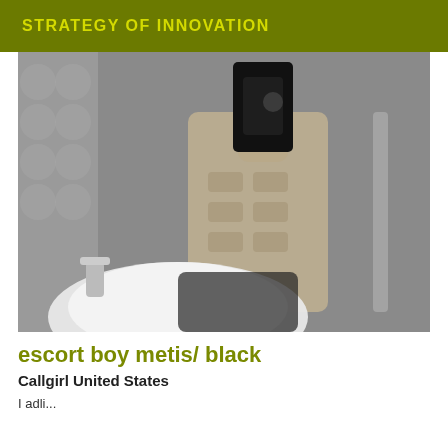STRATEGY OF INNOVATION
[Figure (photo): Black and white mirror selfie photo of a person with an athletic build taking a photo with a smartphone, bathroom sink visible in the foreground]
escort boy metis/ black
Callgirl United States
I adli...